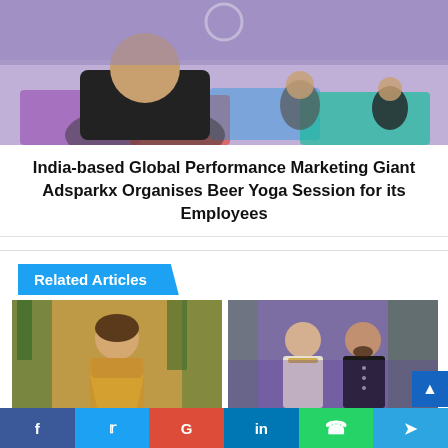[Figure (photo): People doing yoga on colorful mats, one person in foreground in black shirt, others visible in background]
India-based Global Performance Marketing Giant Adsparkx Organises Beer Yoga Session for its Employees
Related Articles
[Figure (photo): Woman in gold dress standing outdoors with trees in background]
August 22, 2022
[Figure (photo): Couple dressed formally, woman in white and gold, man in black sherwani]
August 20, 2022